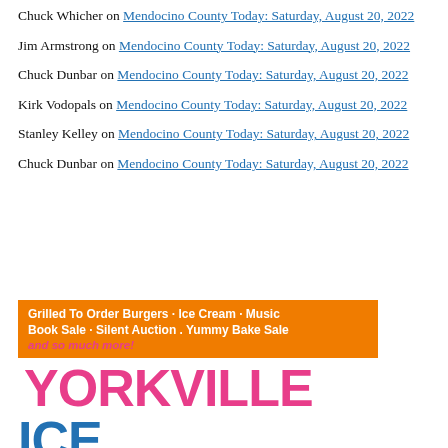Chuck Whicher on Mendocino County Today: Saturday, August 20, 2022
Jim Armstrong on Mendocino County Today: Saturday, August 20, 2022
Chuck Dunbar on Mendocino County Today: Saturday, August 20, 2022
Kirk Vodopals on Mendocino County Today: Saturday, August 20, 2022
Stanley Kelley on Mendocino County Today: Saturday, August 20, 2022
Chuck Dunbar on Mendocino County Today: Saturday, August 20, 2022
[Figure (illustration): Advertisement for Yorkville ICE event featuring orange banner with text 'Grilled To Order Burgers · Ice Cream · Music Book Sale · Silent Auction . Yummy Bake Sale and so much more!' and large pink/magenta YORKVILLE text with blue ICE text below]